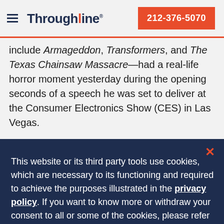Throughline  212-376-5070
include Armageddon, Transformers, and The Texas Chainsaw Massacre—had a real-life horror moment yesterday during the opening seconds of a speech he was set to deliver at the Consumer Electronics Show (CES) in Las Vegas.
This website or its third party tools use cookies, which are necessary to its functioning and required to achieve the purposes illustrated in the privacy policy. If you want to know more or withdraw your consent to all or some of the cookies, please refer to the privacy policy. By closing this banner or continuing to browse otherwise, you agree to the use of cookies.